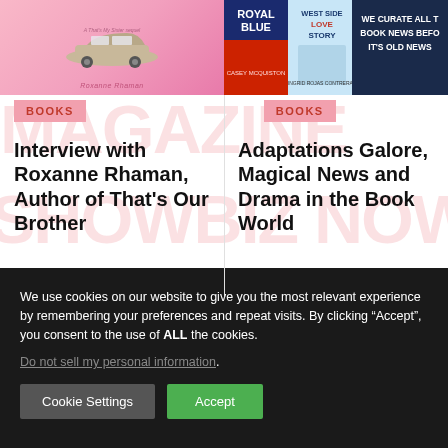[Figure (screenshot): Book cover image on pink background showing a vintage car, by Roxanne Rhaman - That's Our Brother]
[Figure (screenshot): Right side showing two book covers: Royal Blue and West Side Love Story, plus a dark banner reading WE CURATE ALL THE BOOK NEWS BEFORE IT'S OLD NEWS]
BOOKS
BOOKS
Interview with Roxanne Rhaman, Author of That's Our Brother
Adaptations Galore, Magical News and Drama in the Book World
We use cookies on our website to give you the most relevant experience by remembering your preferences and repeat visits. By clicking “Accept”, you consent to the use of ALL the cookies.
Do not sell my personal information.
Cookie Settings
Accept